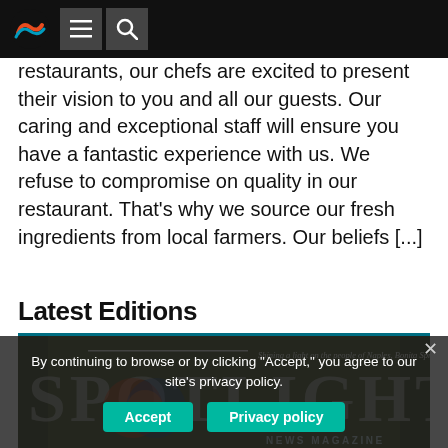Navigation bar with logo, menu, and search buttons
restaurants, our chefs are excited to present their vision to you and all our guests. Our caring and exceptional staff will ensure you have a fantastic experience with us. We refuse to compromise on quality in our restaurant. That's why we source our fresh ingredients from local farmers. Our beliefs [...]
Latest Editions
[Figure (photo): Spotlight News Magazine cover page with tagline 'Shining a light on the people of Naples, Bonita Springs and Estero' overlaid with a cookie consent banner.]
By continuing to browse or by clicking "Accept," you agree to our site's privacy policy.